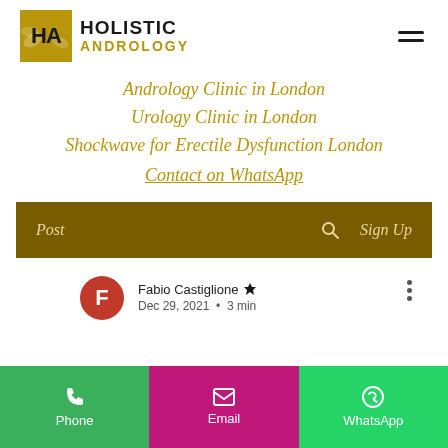[Figure (logo): Holistic Andrology logo: golden square with HA initials and leaf motifs, text HOLISTIC ANDROLOGY beside it]
Andrology Clinic in London
Urology Clinic in London
Shockwave for Erectile Dysfunction London
Contact on WhatsApp
Post    🔍    Sign Up
Fabio Castiglione 👑  Dec 29, 2021  •  3 min
Phone   Email   WhatsApp